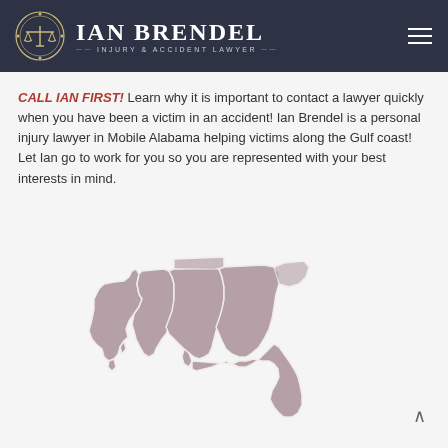[Figure (logo): Ian Brendel Injury & Accident Lawyer logo with scales of justice icon and text]
CALL IAN FIRST! Learn why it is important to contact a lawyer quickly when you have been a victim in an accident! Ian Brendel is a personal injury lawyer in Mobile Alabama helping victims along the Gulf coast! Let Ian go to work for you so you are represented with your best interests in mind.
[Figure (map): Gulf Coast region map showing Louisiana, Mississippi, Alabama, and Florida states in muted pink/mauve color with white borders]